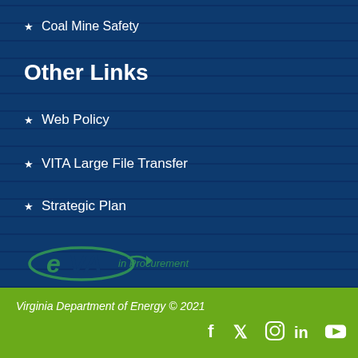Coal Mine Safety
Other Links
Web Policy
VITA Large File Transfer
Strategic Plan
[Figure (logo): eVA in Procurement logo with green swoosh and text]
Virginia Department of Energy © 2021